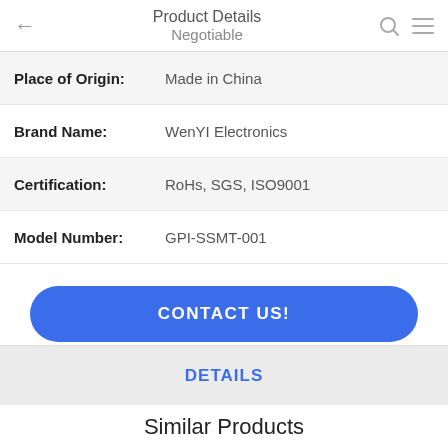Product Details / Negotiable
| Field | Value |
| --- | --- |
| Place of Origin: | Made in China |
| Brand Name: | WenYI Electronics |
| Certification: | RoHs, SGS, ISO9001 |
| Model Number: | GPI-SSMT-001 |
CONTACT US!
DETAILS
Similar Products